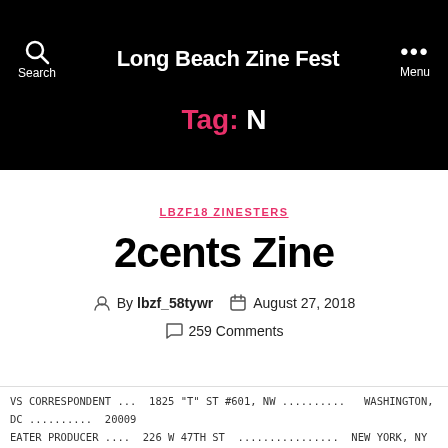Long Beach Zine Fest
Tag: N
LBZF18 ZINESTERS
2cents Zine
By lbzf_58tywr   August 27, 2018
259 Comments
VS CORRESPONDENT ...  1825 "T" ST #601, NW ..........  WASHINGTON, DC ..........  20009
EATER PRODUCER ....  226 W 47TH ST  ................  NEW YORK, NY  ..........  10036
OR               10190 SANTA MONICA BLVD  ........